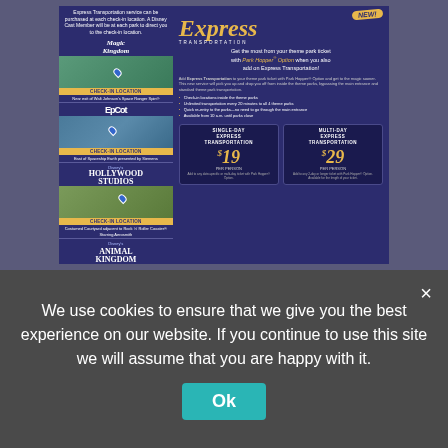[Figure (infographic): Disney Express Transportation promotional flyer showing four park maps (Magic Kingdom, Epcot, Hollywood Studios, Animal Kingdom) with check-in locations on the left, and on the right: NEW badge, Express Transportation branding, tagline about Park Hopper Option, bullet points about the service, and pricing for Single-Day ($19) and Multi-Day ($29) Express Transportation.]
We use cookies to ensure that we give you the best experience on our website. If you continue to use this site we will assume that you are happy with it.